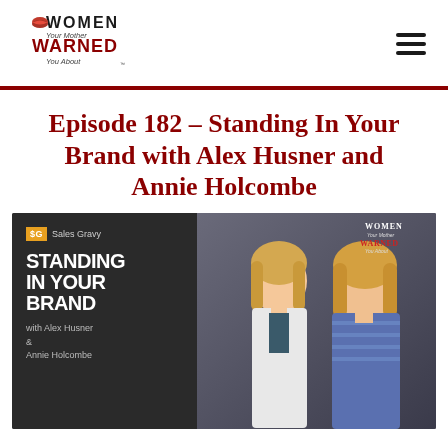[Figure (logo): Women Your Mother Warned You About podcast logo with lips icon in red]
Episode 182 – Standing In Your Brand with Alex Husner and Annie Holcombe
[Figure (photo): Podcast episode thumbnail showing two women: Alex Husner (blonde, white blazer) and Annie Holcombe (blonde, blue striped top). Left panel shows Sales Gravy logo, 'STANDING IN YOUR BRAND with Alex Husner & Annie Holcombe' text. Top right shows Women Your Mother Warned You About logo.]